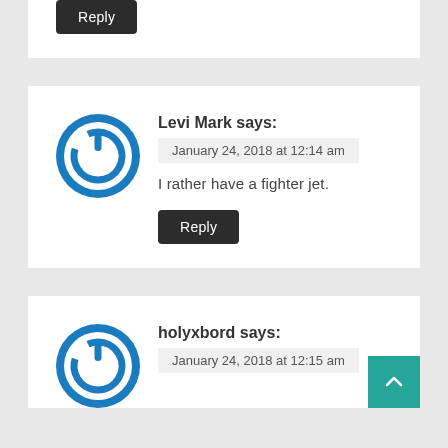Reply
Levi Mark says:
January 24, 2018 at 12:14 am
I rather have a fighter jet.
Reply
holyxbord says:
January 24, 2018 at 12:15 am